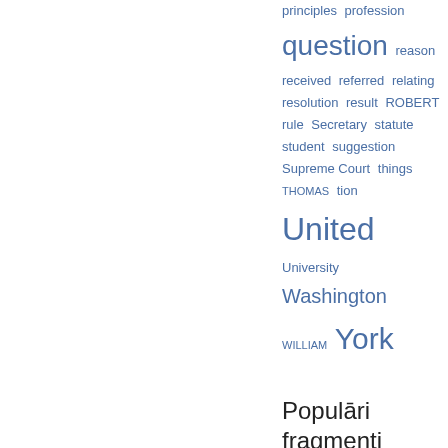[Figure (other): Tag cloud with blue hyperlinked words of varying sizes: principles, profession, question (large), reason, received, referred, relating, resolution, result, ROBERT, rule, Secretary, statute, student, suggestion, Supreme Court, things, THOMAS, tion, United (largest), University, Washington, WILLIAM (small caps), York (large)]
Populāri fragmenti
343. lappuse - It is, of course, too early to forecast the means of attaining this last result; but the policy of the